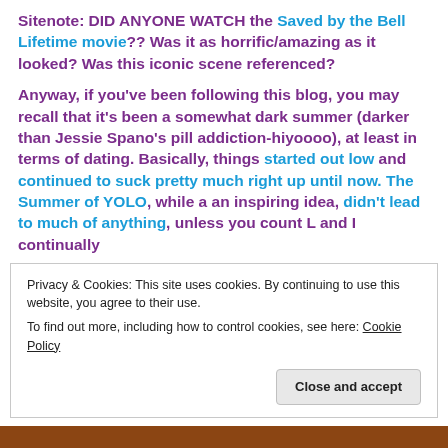Sitenote: DID ANYONE WATCH the Saved by the Bell Lifetime movie?? Was it as horrific/amazing as it looked? Was this iconic scene referenced?
Anyway, if you've been following this blog, you may recall that it's been a somewhat dark summer (darker than Jessie Spano's pill addiction-hiyoooo), at least in terms of dating. Basically, things started out low and continued to suck pretty much right up until now. The Summer of YOLO, while a an inspiring idea, didn't lead to much of anything, unless you count L and I continually
Privacy & Cookies: This site uses cookies. By continuing to use this website, you agree to their use.
To find out more, including how to control cookies, see here: Cookie Policy
Close and accept
[Figure (photo): Bottom strip of a photo, brownish/skin tone colors visible at very bottom of page]